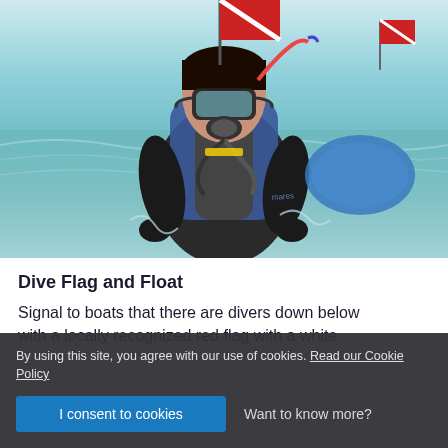[Figure (photo): A scuba diver wearing full diving gear including mask, wetsuit, BCD, and tank, emerging from shallow green ocean water. A red and white dive flag is visible in the background. The diver is looking directly at the camera.]
Dive Flag and Float
Signal to boats that there are divers down below with a locally recognized red flag with a white
By using this site, you agree with our use of cookies. Read our Cookie Policy
I consent to cookies
Want to know more?